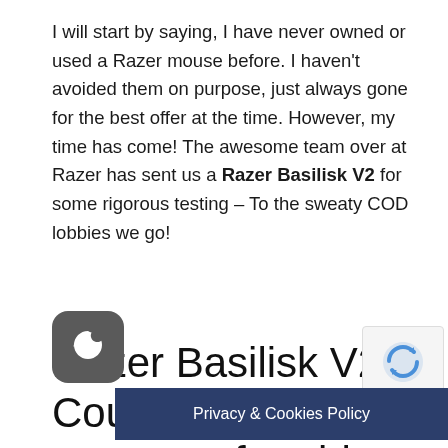I will start by saying, I have never owned or used a Razer mouse before. I haven't avoided them on purpose, just always gone for the best offer at the time. However, my time has come! The awesome team over at Razer has sent us a Razer Basilisk V2 for some rigorous testing – To the sweaty COD lobbies we go!
Razer Basilisk V2 – Could this be the most comfortable mouse?
been lucky enough lately to literally get my on a plethora of gaming mice. I have done deeps dives with light budget
[Figure (other): Dark rounded square icon with a crescent moon symbol (cookie consent toggle button)]
Privacy & Cookies Policy
[Figure (other): Google reCAPTCHA badge with circular arrow logo and 'Privacy - Terms' text]